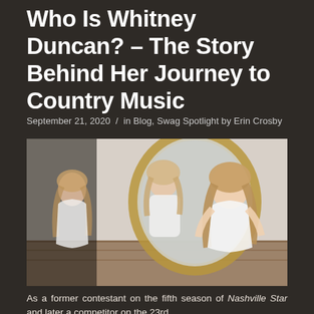Who Is Whitney Duncan? – The Story Behind Her Journey to Country Music
September 21, 2020 / in Blog, Swag Spotlight by Erin Crosby
[Figure (photo): A blonde woman in a white dress sitting in front of a large ornate gold-framed mirror, with her reflection visible in the mirror. The setting appears to be an interior space with wooden flooring.]
As a former contestant on the fifth season of Nashville Star and later a competitor on the 23rd